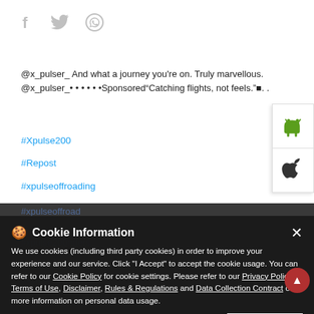[Figure (screenshot): Social media share icons: Facebook (f), Twitter bird, WhatsApp]
@x_pulser_ And what a journey you're on. Truly marvellous. @x_pulser_• • • • • •Sponsored“Catching flights, not feels.”■. .
#Xpulse200
#Repost
#xpulseoffroading
[Figure (screenshot): Android and Apple app store icons in a side panel]
Cookie Information
We use cookies (including third party cookies) in order to improve your experience and our service. Click "I Accept" to accept the cookie usage. You can refer to our Cookie Policy for cookie settings. Please refer to our Privacy Policy, Terms of Use, Disclaimer, Rules & Regulations and Data Collection Contract or more information on personal data usage.
#xpulseoffroad
#xpulse200nders
#xpulserallykit
#xpulse
#xpulsekochi